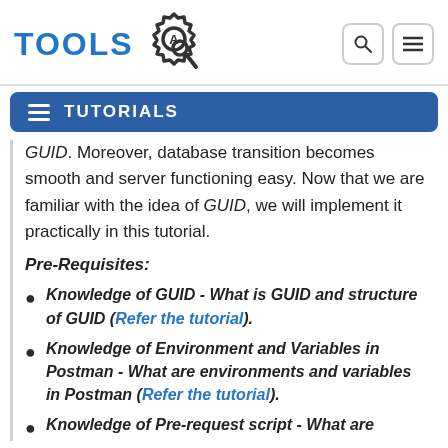TOOLS [logo with gear and magnifier]
TUTORIALS
GUID. Moreover, database transition becomes smooth and server functioning easy. Now that we are familiar with the idea of GUID, we will implement it practically in this tutorial.
Pre-Requisites:
Knowledge of GUID - What is GUID and structure of GUID (Refer the tutorial).
Knowledge of Environment and Variables in Postman - What are environments and variables in Postman (Refer the tutorial).
Knowledge of Pre-request script - What are